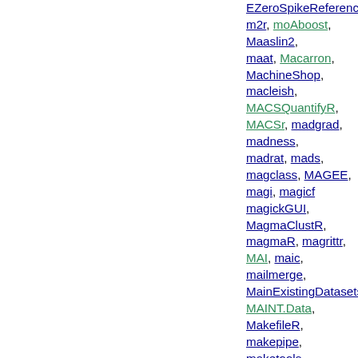EZeroSpikeReference, m2r, moAboost, Maaslin2, maat, Macarron, MachineShop, macleish, MACSQuantifyR, MACSr, madgrad, madness, madrat, mads, magclass, MAGEE, magi, magicf, magickGUI, MagmaClustR, magmaR, magrittr, MAI, maic, mailmerge, MainExistingDatasets, MAINT.Data, MakefileR, makepipe, maketools, malan, malariaAtlas, malaytextr, MALDIquant, MALDIquantForeign, MALDIrppa, mallet, ManagedCloudProvider, mandelbrot, mangoTraining, manhattanly, manhplot, manifestoR, manipulateWidget, MANOVA.RM, manydata, manymodelr, MaOEA, mapbayr, mapboxapi, mapdeck, MAPITR, mapme.biodiversity, mappings, mappoly, mappp, mapr, mapscanner, mapSpain, MarginalMediation, margins, mark, markets, markophylo, markovcha, MarkowitzR, marp, marr, MARSS, martini, maSAE, mase, maser, mashr, maskRangeR, masb, masscor, Massign, MAST, matahari, matchbook, matchingR, matchmaker, matchMulti, matconv, mathpix, matlab2r, matricks, Matrix.utils, MatrixExtra, MatrixGenerics, matrixNormal, matrixprofiler, MatrixQCvis, matrixTests, matsbyname, matsindf, matter, mauricer, maxnoc, maybc, MazamaCoreUtils, MazamaLocationUtils